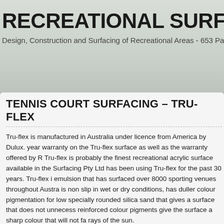RECREATIONAL SURFACING
Design, Construction and Surfacing of Recreational Areas - 653 Pacific H
CONSTRUCTION   SURFACING   PROJECT GALLERY   CON
TENNIS COURT SURFACING – TRU-FLEX
Tru-flex is manufactured in Australia under licence from America by Dulux. year warranty on the Tru-flex surface as well as the warranty offered by R Tru-flex is probably the finest recreational acrylic surface available in the Surfacing Pty Ltd has been using Tru-flex for the past 30 years. Tru-flex i emulsion that has surfaced over 8000 sporting venues throughout Austra is non slip in wet or dry conditions, has duller colour pigmentation for low specially rounded silica sand that gives a surface that does not unnecess reinforced colour pigments give the surface a sharp colour that will not fa rays of the sun.